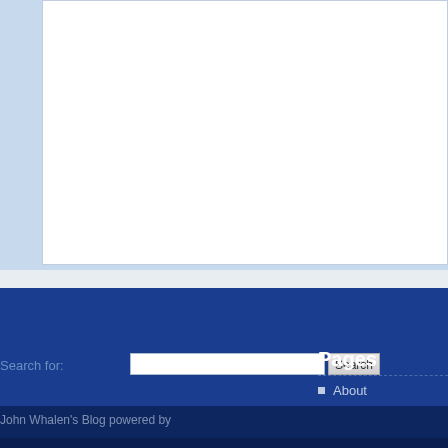[Figure (screenshot): White textarea input box at the top of a comment form section with light blue background]
Post Your Comment
Search for:
Search
Pages
About
John Whalen's Blog powered by